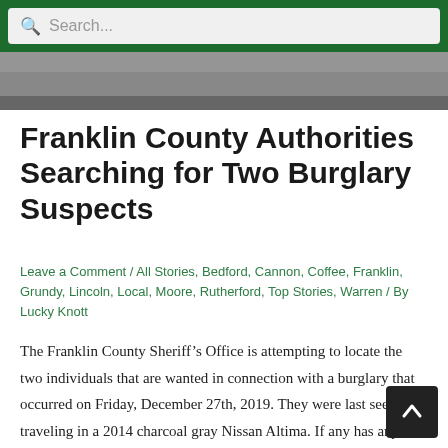Search...
[Figure (photo): Partial photo strip showing a dark/gray outdoor scene]
Franklin County Authorities Searching for Two Burglary Suspects
Leave a Comment / All Stories, Bedford, Cannon, Coffee, Franklin, Grundy, Lincoln, Local, Moore, Rutherford, Top Stories, Warren / By Lucky Knott
The Franklin County Sheriff's Office is attempting to locate the two individuals that are wanted in connection with a burglary that occurred on Friday, December 27th, 2019. They were last seen traveling in a 2014 charcoal gray Nissan Altima. If any has any information concerning their whereabouts, please